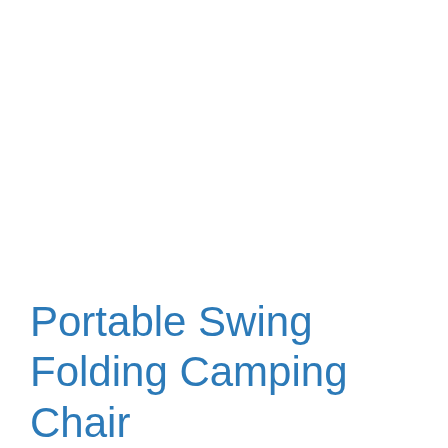Portable Swing Folding Camping Chair